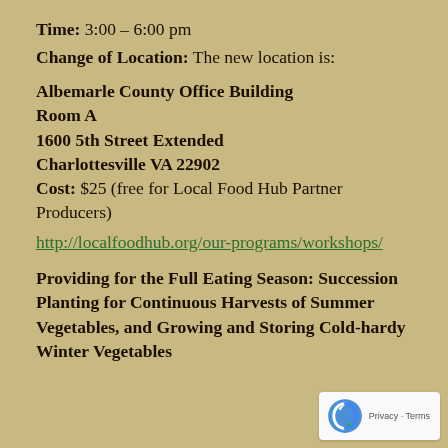Time: 3:00 – 6:00 pm
Change of Location: The new location is:
Albemarle County Office Building
Room A
1600 5th Street Extended
Charlottesville VA 22902
Cost: $25 (free for Local Food Hub Partner Producers)
http://localfoodhub.org/our-programs/workshops/
Providing for the Full Eating Season: Succession Planting for Continuous Harvests of Summer Vegetables, and Growing and Storing Cold-hardy Winter Vegetables